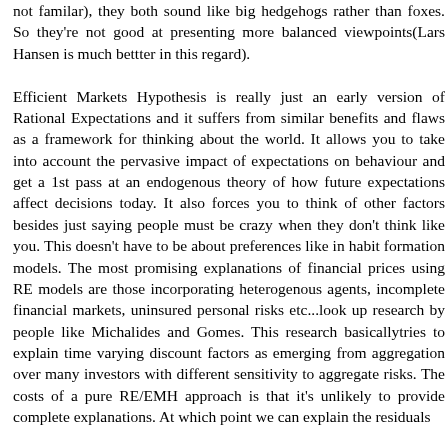not familar), they both sound like big hedgehogs rather than foxes. So they're not good at presenting more balanced viewpoints(Lars Hansen is much bettter in this regard).

Efficient Markets Hypothesis is really just an early version of Rational Expectations and it suffers from similar benefits and flaws as a framework for thinking about the world. It allows you to take into account the pervasive impact of expectations on behaviour and get a 1st pass at an endogenous theory of how future expectations affect decisions today. It also forces you to think of other factors besides just saying people must be crazy when they don't think like you. This doesn't have to be about preferences like in habit formation models. The most promising explanations of financial prices using RE models are those incorporating heterogenous agents, incomplete financial markets, uninsured personal risks etc...look up research by people like Michalides and Gomes. This research basicallytries to explain time varying discount factors as emerging from aggregation over many investors with different sensitivity to aggregate risks. The costs of a pure RE/EMH approach is that it's unlikely to provide complete explanations. At which point we can explain the residuals